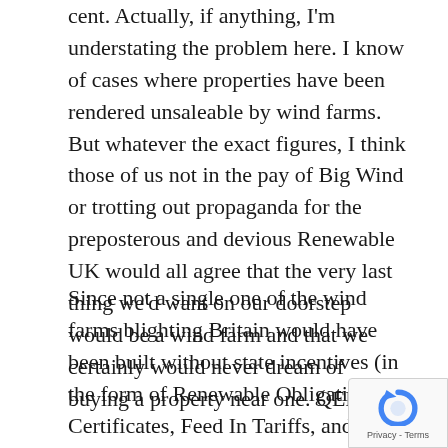cent. Actually, if anything, I'm understating the problem here. I know of cases where properties have been rendered unsaleable by wind farms. But whatever the exact figures, I think those of us not in the pay of Big Wind or trotting out propaganda for the preposterous and devious Renewable UK would all agree that the very last thing we'd want on our doorstep would be a wind farm and that we certainly would never dream of buying a property near one. QED.
Since not a single one of the wind farms blighting Britain would have been built without state incentives (in the form of Renewable Obligations Certificates, Feed In Tariffs, and legislation which makes it very hard for communities to prevent wind farms being built in the area) we can reasonably therefore that wind farms represent a wanton assault by the state on property rights. We expect